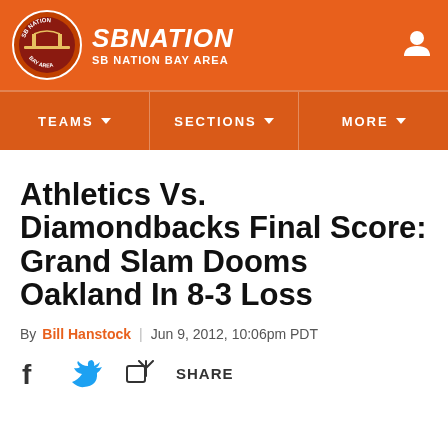SB NATION | SB NATION BAY AREA
Athletics Vs. Diamondbacks Final Score: Grand Slam Dooms Oakland In 8-3 Loss
By Bill Hanstock | Jun 9, 2012, 10:06pm PDT
SHARE